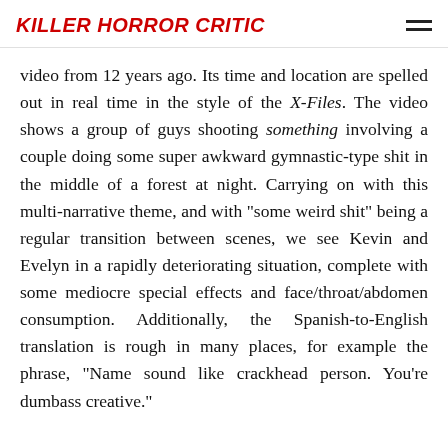KILLER HORROR CRITIC
video from 12 years ago. Its time and location are spelled out in real time in the style of the X-Files. The video shows a group of guys shooting something involving a couple doing some super awkward gymnastic-type shit in the middle of a forest at night. Carrying on with this multi-narrative theme, and with “some weird shit” being a regular transition between scenes, we see Kevin and Evelyn in a rapidly deteriorating situation, complete with some mediocre special effects and face/throat/abdomen consumption. Additionally, the Spanish-to-English translation is rough in many places, for example the phrase, “Name sound like crackhead person. You’re dumbass creative.”
If a screen of this then a little shall be a screen